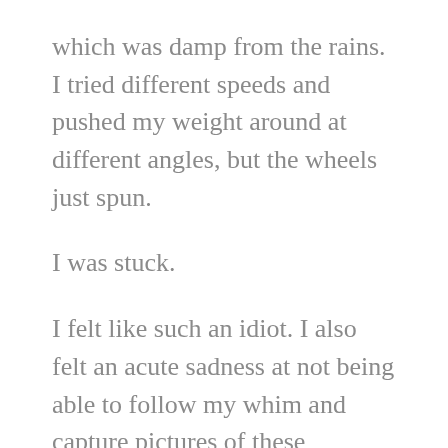which was damp from the rains. I tried different speeds and pushed my weight around at different angles, but the wheels just spun.
I was stuck.
I felt like such an idiot. I also felt an acute sadness at not being able to follow my whim and capture pictures of these wonderous bits of nature.
I phoned my son and he was home. (I have a list of helpers I can call and he’s first on